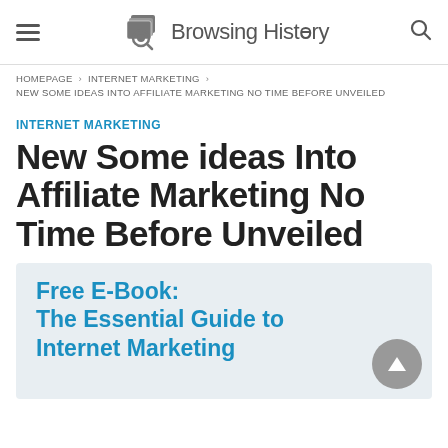Browsing History
HOMEPAGE › INTERNET MARKETING › NEW SOME IDEAS INTO AFFILIATE MARKETING NO TIME BEFORE UNVEILED
INTERNET MARKETING
New Some ideas Into Affiliate Marketing No Time Before Unveiled
[Figure (infographic): Free E-Book: The Essential Guide to Internet Marketing]